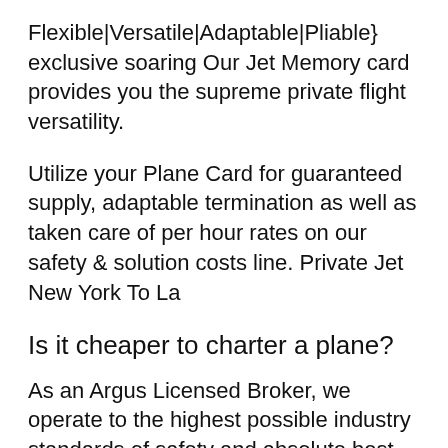Flexible|Versatile|Adaptable|Pliable} exclusive soaring Our Jet Memory card provides you the supreme private flight versatility.
Utilize your Plane Card for guaranteed supply, adaptable termination as well as taken care of per hour rates on our safety & solution costs line. Private Jet New York To La
Is it cheaper to charter a plane?
As an Argus Licensed Broker, we operate to the highest possible industry standards of safety and absolute best process. Occasionally it seems like testimonial internet sites and scores for products and services have actually taken control of the